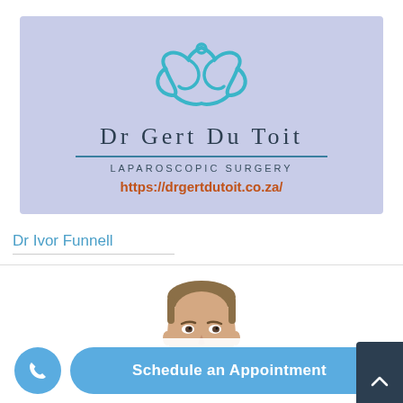[Figure (logo): Dr Gert Du Toit Laparoscopic Surgery logo with teal biohazard-style symbol on lavender background and website URL https://drgertdutoit.co.za/]
Dr Ivor Funnell
[Figure (photo): Headshot photo of Dr Ivor Funnell, a middle-aged man with short brown hair]
Schedule an Appointment